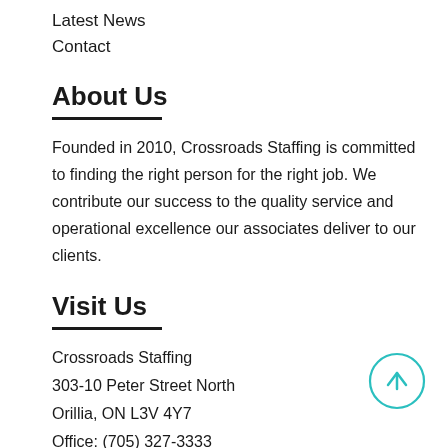Latest News
Contact
About Us
Founded in 2010, Crossroads Staffing is committed to finding the right person for the right job. We contribute our success to the quality service and operational excellence our associates deliver to our clients.
Visit Us
Crossroads Staffing
303-10 Peter Street North
Orillia, ON L3V 4Y7
Office: (705) 327-3333